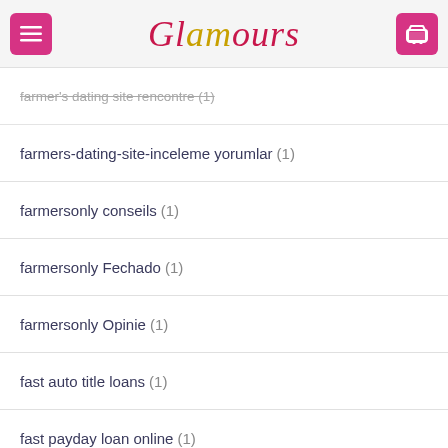Glamours
farmer's dating site rencontre (1)
farmers-dating-site-inceleme yorumlar (1)
farmersonly conseils (1)
farmersonly Fechado (1)
farmersonly Opinie (1)
fast auto title loans (1)
fast payday loan online (1)
fast payday loans near me (1)
fast title loan (1)
fast title loans online (1)